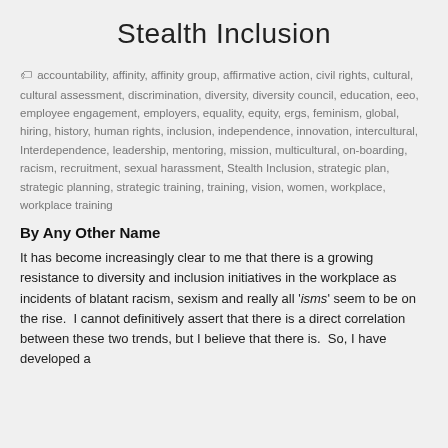Stealth Inclusion
🏷 accountability, affinity, affinity group, affirmative action, civil rights, cultural, cultural assessment, discrimination, diversity, diversity council, education, eeo, employee engagement, employers, equality, equity, ergs, feminism, global, hiring, history, human rights, inclusion, independence, innovation, intercultural, Interdependence, leadership, mentoring, mission, multicultural, on-boarding, racism, recruitment, sexual harassment, Stealth Inclusion, strategic plan, strategic planning, strategic training, training, vision, women, workplace, workplace training
By Any Other Name
It has become increasingly clear to me that there is a growing resistance to diversity and inclusion initiatives in the workplace as incidents of blatant racism, sexism and really all 'isms' seem to be on the rise.  I cannot definitively assert that there is a direct correlation between these two trends, but I believe that there is.  So, I have developed a